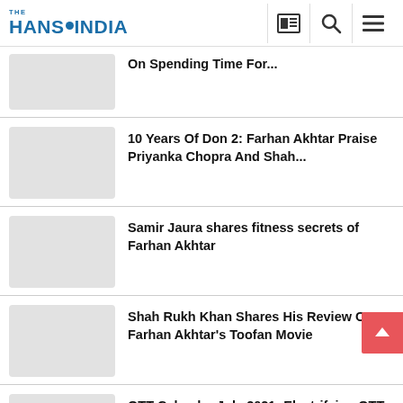THE HANS INDIA
On Spending Time For...
10 Years Of Don 2: Farhan Akhtar Praise Priyanka Chopra And Shah...
Samir Jaura shares fitness secrets of Farhan Akhtar
Shah Rukh Khan Shares His Review On Farhan Akhtar's Toofan Movie
OTT Calendar July 2021: Electrifying OTT Releases Of This Month